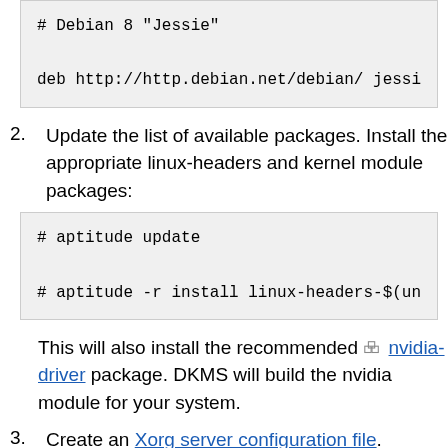# Debian 8 "Jessie"
deb http://http.debian.net/debian/ jessi
2. Update the list of available packages. Install the appropriate linux-headers and kernel module packages:
# aptitude update
# aptitude -r install linux-headers-$(un
This will also install the recommended nvidia-driver package. DKMS will build the nvidia module for your system.
3. Create an Xorg server configuration file.
4. Restart your system to enable the nouveau blacklist.